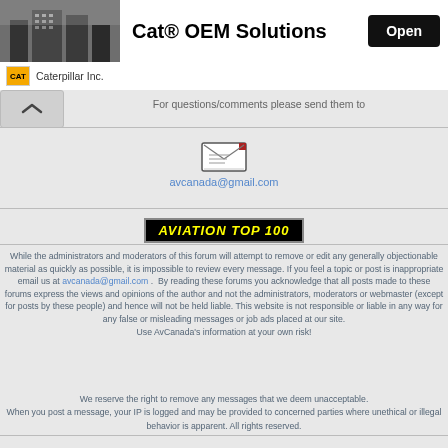[Figure (screenshot): Cat OEM Solutions advertisement banner with building image, title, and Open button]
Caterpillar Inc.
For questions/comments please send them to
[Figure (illustration): Email envelope icon]
avcanada@gmail.com
[Figure (logo): AVIATION TOP 100 badge with yellow text on black background]
While the administrators and moderators of this forum will attempt to remove or edit any generally objectionable material as quickly as possible, it is impossible to review every message. If you feel a topic or post is inappropriate email us at avcanada@gmail.com .  By reading these forums you acknowledge that all posts made to these forums express the views and opinions of the author and not the administrators, moderators or webmaster (except for posts by these people) and hence will not be held liable. This website is not responsible or liable in any way for any false or misleading messages or job ads placed at our site.
Use AvCanada's information at your own risk!
We reserve the right to remove any messages that we deem unacceptable.
When you post a message, your IP is logged and may be provided to concerned parties where unethical or illegal behavior is apparent. All rights reserved.